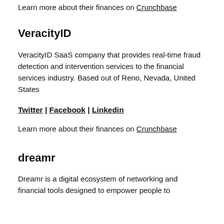Learn more about their finances on Crunchbase
VeracityID
VeracityID SaaS company that provides real-time fraud detection and intervention services to the financial services industry. Based out of Reno, Nevada, United States
Twitter | Facebook | Linkedin
Learn more about their finances on Crunchbase
dreamr
Dreamr is a digital ecosystem of networking and financial tools designed to empower people to achieve their dreams. Based out of London...